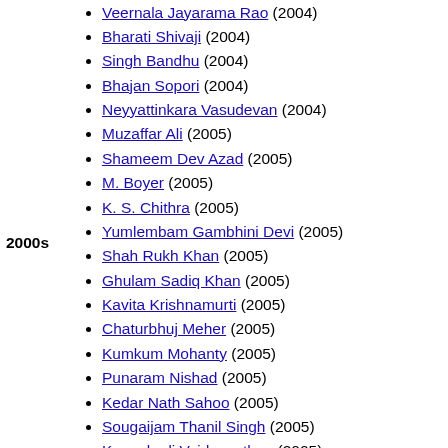Veernala Jayarama Rao (2004)
Bharati Shivaji (2004)
Singh Bandhu (2004)
Bhajan Sopori (2004)
Neyyattinkara Vasudevan (2004)
Muzaffar Ali (2005)
Shameem Dev Azad (2005)
M. Boyer (2005)
K. S. Chithra (2005)
Yumlembam Gambhini Devi (2005)
Shah Rukh Khan (2005)
Ghulam Sadiq Khan (2005)
Kavita Krishnamurti (2005)
Chaturbhuj Meher (2005)
Kumkum Mohanty (2005)
Punaram Nishad (2005)
Kedar Nath Sahoo (2005)
Sougaijam Thanil Singh (2005)
Kunnakudi Vaidyanathan (2005)
Komala Varadan (2005)
Wadali Brothers (2005)
Ileana Citaristi (2006)
Mehmood Dhaulpuri (2006)
Shree Lal Joshi (2006)
Surinder Kaur (2006)
Rashid Khan (continuing) (2006)